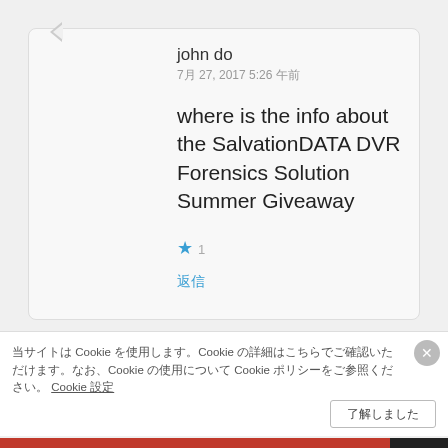[Figure (logo): Blue snowflake/geometric logo icon for user 'john do']
john do
7月 27, 2017 5:26 午前
where is the info about the SalvationDATA DVR Forensics Solution Summer Giveaway
★ 1
返信
[Figure (photo): Circular avatar photo for SalvationDATA user]
SalvationDATA
7月 28, 2017 2:09 午前
当サイトはCookieを使用します。Cookieの詳細はこちらでご確認いただけます。なお、Cookieの使用について Cookie ポリシーをご参照ください。 Cookie 設定
了解しました